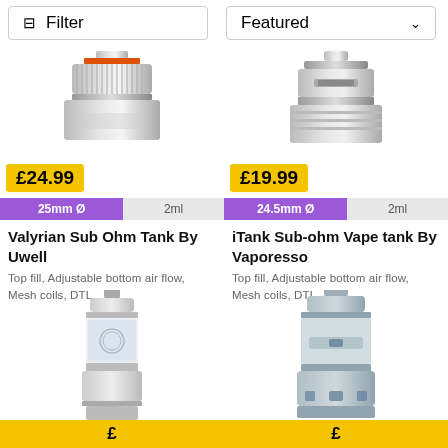Filter
Featured
[Figure (photo): Top portion of a vape tank device (Valyrian Sub Ohm Tank), metallic with orange accent ring, cropped]
£24.99
25mm Ø | 2ml
Valyrian Sub Ohm Tank By Uwell
Top fill, Adjustable bottom air flow, Mesh coils, DTL
[Figure (photo): Top portion of a vape tank device (iTank Sub-ohm), metallic silver, cropped]
£19.99
24.5mm Ø | 2ml
iTank Sub-ohm Vape tank By Vaporesso
Top fill, Adjustable bottom air flow, Mesh coils, DTL
[Figure (photo): Full vape tank device with clear glass, metallic fittings, circular logo on body]
[Figure (photo): Full vape tank device, light blue/gray color, wider body with airflow slots at bottom]